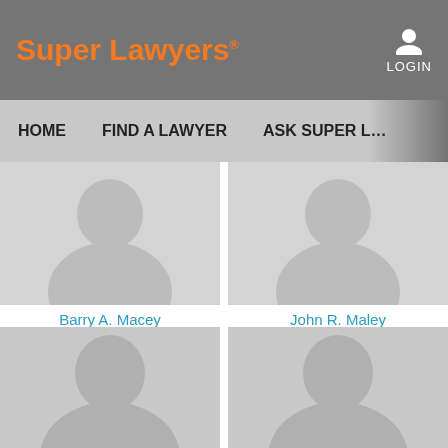Super Lawyers
LOGIN
HOME   FIND A LAWYER   ASK SUPER L...
[Figure (photo): Placeholder silhouette photo for Barry A. Macey]
Barry A. Macey
Macey Swanson LLP
[Figure (photo): Placeholder silhouette photo for John R. Maley]
John R. Maley
Barnes & Thornburg LLP
[Figure (photo): Placeholder silhouette photo bottom left]
[Figure (photo): Placeholder silhouette photo bottom right]